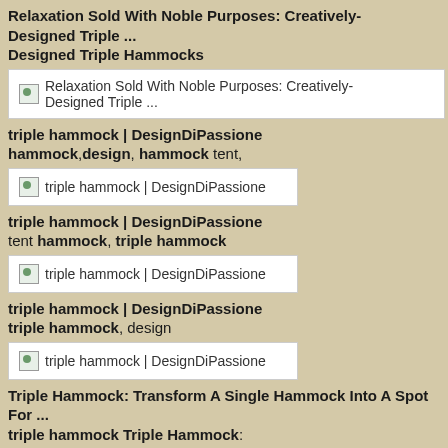Relaxation Sold With Noble Purposes: Creatively-Designed Triple ... Designed Triple Hammocks
[Figure (screenshot): Image placeholder for Relaxation Sold With Noble Purposes: Creatively-Designed Triple ...]
triple hammock | DesignDiPassione hammock,design, hammock tent,
[Figure (screenshot): Image placeholder for triple hammock | DesignDiPassione]
triple hammock | DesignDiPassione tent hammock, triple hammock
[Figure (screenshot): Image placeholder for triple hammock | DesignDiPassione]
triple hammock | DesignDiPassione triple hammock, design
[Figure (screenshot): Image placeholder for triple hammock | DesignDiPassione]
Triple Hammock: Transform A Single Hammock Into A Spot For ...
triple hammock Triple Hammock:
[Figure (screenshot): Image placeholder at bottom]